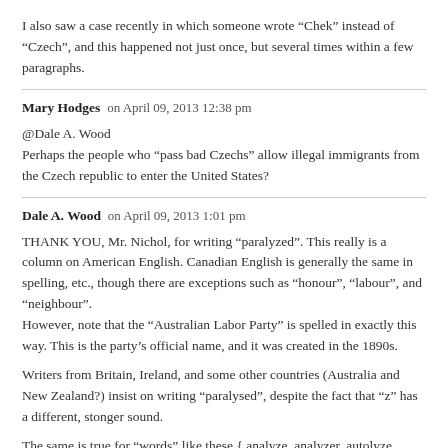I also saw a case recently in which someone wrote “Chek” instead of “Czech”, and this happened not just once, but several times within a few paragraphs.
Mary Hodges on April 09, 2013 12:38 pm
@Dale A. Wood
Perhaps the people who “pass bad Czechs” allow illegal immigrants from the Czech republic to enter the United States?
Dale A. Wood on April 09, 2013 1:01 pm
THANK YOU, Mr. Nichol, for writing “paralyzed”. This really is a column on American English. Canadian English is generally the same in spelling, etc., though there are exceptions such as “honour”, “labour”, and “neighbour”.
However, note that the “Australian Labor Party” is spelled in exactly this way. This is the party’s official name, and it was created in the 1890s.
Writers from Britain, Ireland, and some other countries (Australia and New Zealand?) insist on writing “paralysed”, despite the fact that “z” has a different, stonger sound.
The same is true for “words” like these { analyze, analyzer, autolyze,